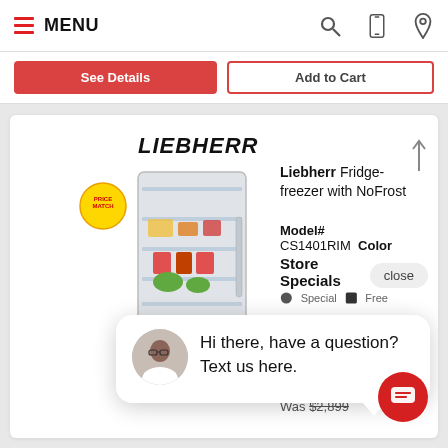MENU
[Figure (screenshot): See Details and Add to Cart buttons partially visible at top]
[Figure (photo): Liebherr fridge-freezer product image with open door showing contents]
LIEBHERR
Liebherr Fridge-freezer with NoFrost
Model# CS1401RIM  Color
Store Specials
[Figure (screenshot): Chat popup with avatar: Hi there, have a question? Text us here.]
Hi there, have a question? Text us here.
Save $200
Was $2,899